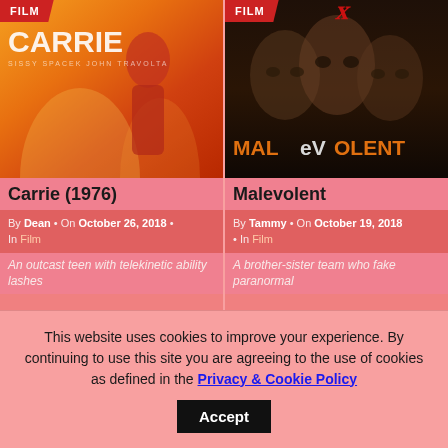[Figure (photo): Movie poster for Carrie (1976) showing fiery orange background with woman in red dress and CARRIE title text]
[Figure (photo): Movie poster for Malevolent showing dark background with three ghostly faces and orange MALEVOLENT title text, with Netflix X logo]
Carrie (1976)
Malevolent
By Dean • On October 26, 2018 • In Film
By Tammy • On October 19, 2018 • In Film
An outcast teen with telekinetic ability lashes
A brother-sister team who fake paranormal
This website uses cookies to improve your experience. By continuing to use this site you are agreeing to the use of cookies as defined in the Privacy & Cookie Policy